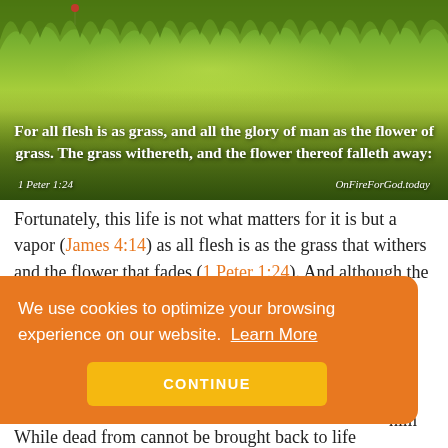[Figure (photo): Green grass field background with a Bible verse overlay. Text reads: 'For all flesh is as grass, and all the glory of man as the flower of grass. The grass withereth, and the flower thereof falleth away:' with reference '1 Peter 1:24' and 'OnFireForGod.today']
Fortunately, this life is not what matters for it is but a vapor (James 4:14) as all flesh is as the grass that withers and the flower that fades (1 Peter 1:24). And although the world will pass away, those who do
We use cookies to optimize your browsing experience on our website. Learn More
CONTINUE
While dead from cannot be brought back to life